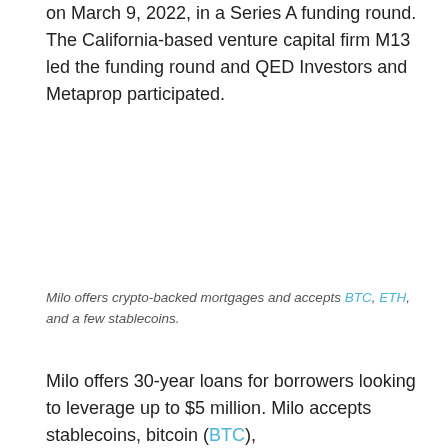on March 9, 2022, in a Series A funding round. The California-based venture capital firm M13 led the funding round and QED Investors and Metaprop participated.
Milo offers crypto-backed mortgages and accepts BTC, ETH, and a few stablecoins.
Milo offers 30-year loans for borrowers looking to leverage up to $5 million. Milo accepts stablecoins, bitcoin (BTC),